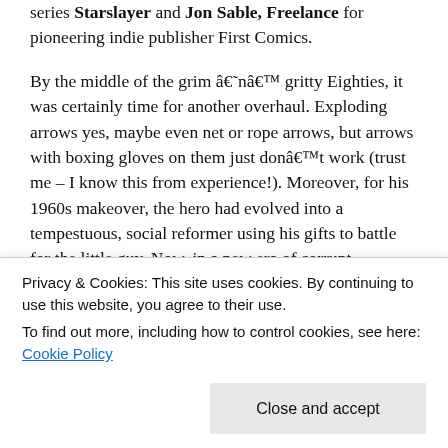series Starslayer and Jon Sable, Freelance for pioneering indie publisher First Comics.
By the middle of the grim â€˜nâ€™ gritty Eighties, it was certainly time for another overhaul. Exploding arrows yes, maybe even net or rope arrows, but arrows with boxing gloves on them just donâ€™t work (trust me – I know this from experience!). Moreover, for his 1960s makeover, the hero had evolved into a tempestuous, social reformer using his gifts to battle for the little guy. Now, in a new era of corrupt government, drug cartels and serial killers, this emerald survivor adapted again and thrived once more.
Privacy & Cookies: This site uses cookies. By continuing to use this website, you agree to their use. To find out more, including how to control cookies, see here: Cookie Policy
sidekick Speedy is now a dad, he is technically a